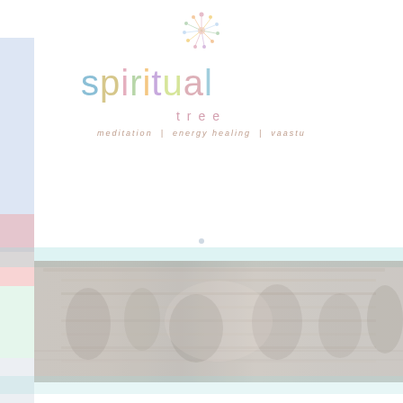[Figure (logo): Spiritual Tree logo: colorful starburst/flower icon above the word 'spiritual' in multicolored pastel letters, with 'tree' below in pink, and tagline 'meditation | energy healing | vaastu' in light brown italic text]
[Figure (photo): A faded/washed-out horizontal photo strip showing what appears to be a group meditation or healing session scene, very low contrast, light teal band above and below the photo]